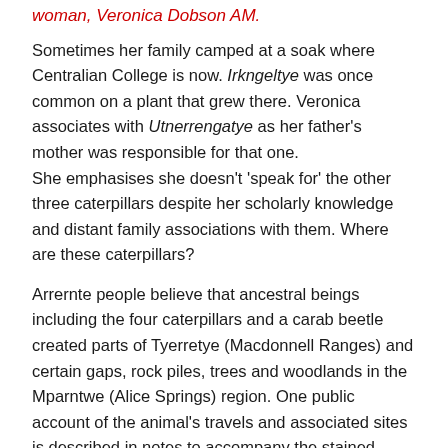woman, Veronica Dobson AM.
Sometimes her family camped at a soak where Centralian College is now. Irkngeltye was once common on a plant that grew there. Veronica associates with Utnerrengatye as her father's mother was responsible for that one. She emphasises she doesn't 'speak for' the other three caterpillars despite her scholarly knowledge and distant family associations with them. Where are these caterpillars?
Arrernte people believe that ancestral beings including the four caterpillars and a carab beetle created parts of Tyerretye (Macdonnell Ranges) and certain gaps, rock piles, trees and woodlands in the Mparntwe (Alice Springs) region. One public account of the animal's travels and associated sites is described in notes to accompany the stained glass within the Araluen gallery foyer. The window's cathedral proportions suit the morals and characters symbolised. The travels and